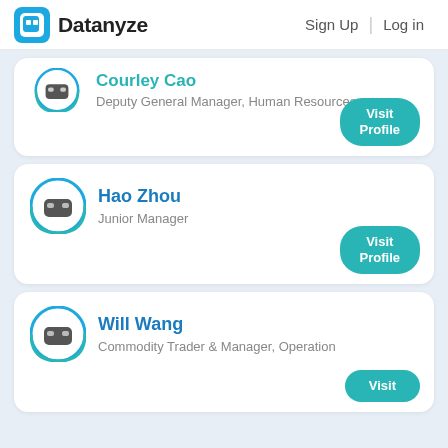Datanyze | Sign Up | Log in
Courley Cao
Deputy General Manager, Human Resources
Visit Profile
Hao Zhou
Junior Manager
Visit Profile
Will Wang
Commodity Trader & Manager, Operation
Visit